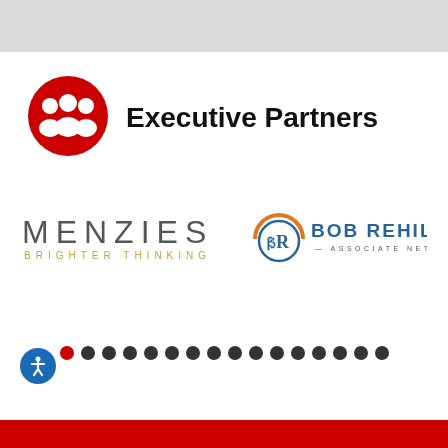Executive Partners
[Figure (logo): Menzies - Brighter Thinking logo in dark grey and gold text]
[Figure (logo): Bob Rehill Associate Network logo with orange arc BR monogram and teal text]
[Figure (other): Pagination dots: first dot red (active), remaining 15 dots dark grey]